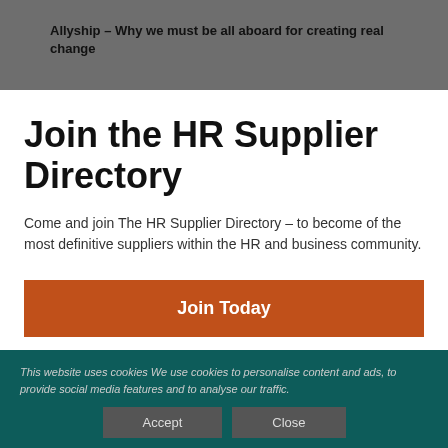Allyship – Why we must be all aboard for creating real change
[Figure (logo): HR World logo with globe icon in teal]
Join the HR Supplier Directory
Come and join The HR Supplier Directory – to become of the most definitive suppliers within the HR and business community.
Join Today
This website uses cookies We use cookies to personalise content and ads, to provide social media features and to analyse our traffic.
Accept   Close